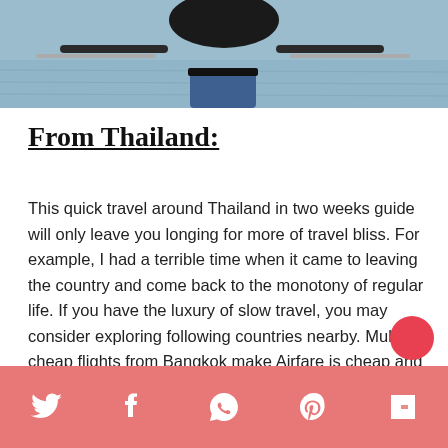[Figure (photo): Cropped photo showing a person in a black top and denim shorts on a boat with water in the background]
From Thailand:
This quick travel around Thailand in two weeks guide will only leave you longing for more of travel bliss. For example, I had a terrible time when it came to leaving the country and come back to the monotony of regular life. If you have the luxury of slow travel, you may consider exploring following countries nearby. Multiple cheap flights from Bangkok make Airfare is cheap and they offer their own share of beautiful culture.
Social share bar with Twitter, Facebook, WhatsApp, Pinterest, Flipboard icons